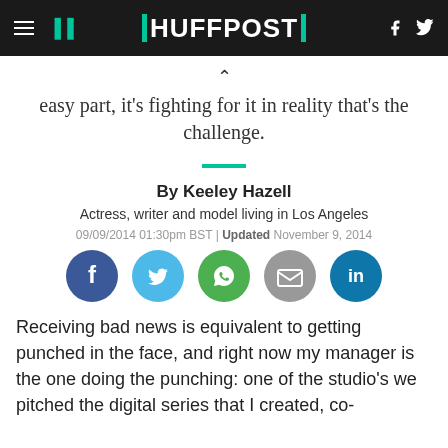HUFFPOST
easy part, it's fighting for it in reality that's the challenge.
By Keeley Hazell
Actress, writer and model living in Los Angeles
09/09/2014 01:30pm BST | Updated November 9, 2014
[Figure (infographic): Social sharing icons: Facebook, Twitter, WhatsApp, Email, LinkedIn]
Receiving bad news is equivalent to getting punched in the face, and right now my manager is the one doing the punching: one of the studio's we pitched the digital series that I created, co-